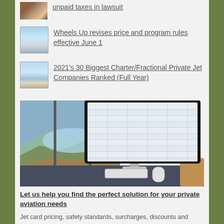unpaid taxes in lawsuit
Wheels Up revises price and program rules effective June 1
2021's 30 Biggest Charter/Fractional Private Jet Companies Ranked (Full Year)
[Figure (photo): Desktop computer monitor on a dark desk with ocean/coastal landscape visible through a window in the background]
Let us help you find the perfect solution for your private aviation needs
Jet card pricing, safety standards, surcharges, discounts and